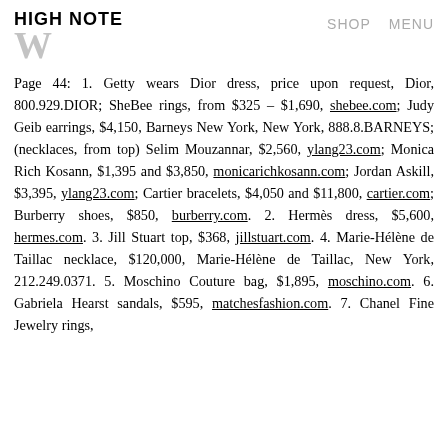HIGH NOTE   SHOP   MENU
Page 44: 1. Getty wears Dior dress, price upon request, Dior, 800.929.DIOR; SheBee rings, from $325 – $1,690, shebee.com; Judy Geib earrings, $4,150, Barneys New York, New York, 888.8.BARNEYS; (necklaces, from top) Selim Mouzannar, $2,560, ylang23.com; Monica Rich Kosann, $1,395 and $3,850, monicarichkosann.com; Jordan Askill, $3,395, ylang23.com; Cartier bracelets, $4,050 and $11,800, cartier.com; Burberry shoes, $850, burberry.com. 2. Hermès dress, $5,600, hermes.com. 3. Jill Stuart top, $368, jillstuart.com. 4. Marie-Hélène de Taillac necklace, $120,000, Marie-Hélène de Taillac, New York, 212.249.0371. 5. Moschino Couture bag, $1,895, moschino.com. 6. Gabriela Hearst sandals, $595, matchesfashion.com. 7. Chanel Fine Jewelry rings,